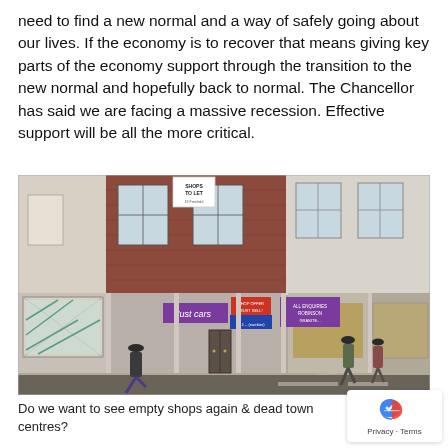need to find a new normal and a way of safely going about our lives. If the economy is to recover that means giving key parts of the economy support through the transition to the new normal and hopefully back to normal. The Chancellor has said we are facing a massive recession. Effective support will be all the more critical.
[Figure (photo): Street-level photograph of a row of empty shops with boarded-up windows and 'Shops to Let' signs. Pedestrians walk along the pavement in front of the vacant retail units.]
Do we want to see empty shops again & dead town centres?